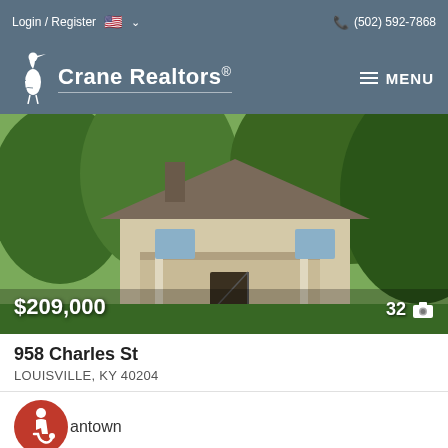Login / Register  (502) 592-7868
[Figure (logo): Crane Realtors logo with heron bird and text 'Crane Realtors®']
[Figure (photo): Exterior photo of a residential home at 958 Charles St Louisville KY with front porch, brick exterior, lush green trees. Price overlay: $209,000. Photo count: 32]
958 Charles St
LOUISVILLE, KY 40204
antown
2   1   1,134